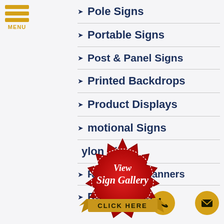MENU
Pole Signs
Portable Signs
Post & Panel Signs
Printed Backdrops
Product Displays
Promotional Signs
Pylon Signs
Retractable Banners
Room ID Signs
[Figure (illustration): Red badge/seal with text 'View Sign Gallery CLICK HERE' with gold ribbon banner at bottom]